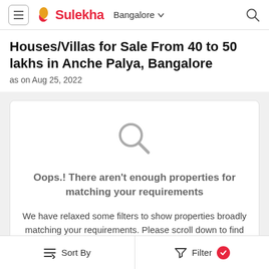Sulekha — Bangalore
Houses/Villas for Sale From 40 to 50 lakhs in Anche Palya, Bangalore
as on Aug 25, 2022
[Figure (illustration): Large grey search/magnifying glass icon indicating no results found]
Oops.! There aren't enough properties for matching your requirements
We have relaxed some filters to show properties broadly matching your requirements. Please scroll down to find more related properties.
Sponsored
Sort By   Filter